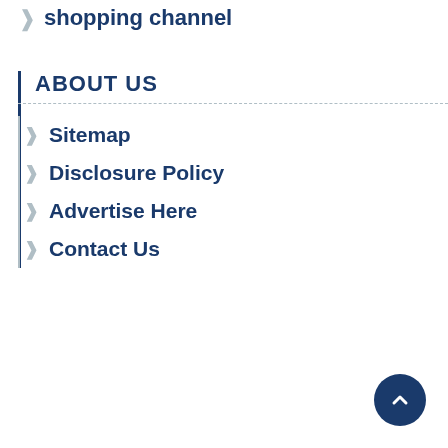shopping channel
ABOUT US
Sitemap
Disclosure Policy
Advertise Here
Contact Us